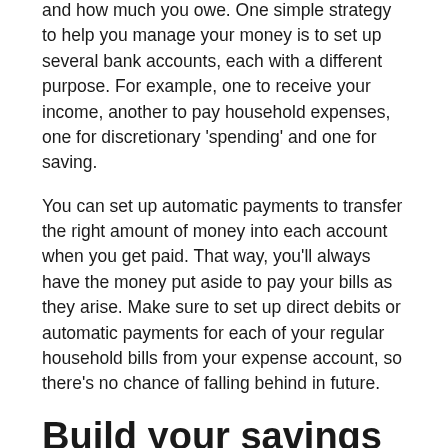and how much you owe. One simple strategy to help you manage your money is to set up several bank accounts, each with a different purpose. For example, one to receive your income, another to pay household expenses, one for discretionary 'spending' and one for saving.
You can set up automatic payments to transfer the right amount of money into each account when you get paid. That way, you'll always have the money put aside to pay your bills as they arise. Make sure to set up direct debits or automatic payments for each of your regular household bills from your expense account, so there's no chance of falling behind in future.
Build your savings
Feeling financially secure goes hand in hand with having a good financial safety net in place. The more you have put aside for a rainy day, the less